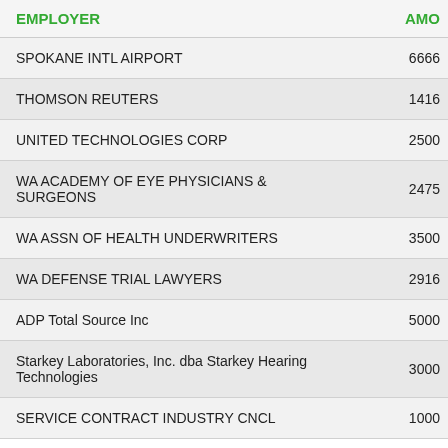| EMPLOYER | AMO... |
| --- | --- |
| SPOKANE INTL AIRPORT | 6666 |
| THOMSON REUTERS | 1416 |
| UNITED TECHNOLOGIES CORP | 2500 |
| WA ACADEMY OF EYE PHYSICIANS & SURGEONS | 2475 |
| WA ASSN OF HEALTH UNDERWRITERS | 3500 |
| WA DEFENSE TRIAL LAWYERS | 2916 |
| ADP Total Source Inc | 5000 |
| Starkey Laboratories, Inc. dba Starkey Hearing Technologies | 3000 |
| SERVICE CONTRACT INDUSTRY CNCL | 1000 |